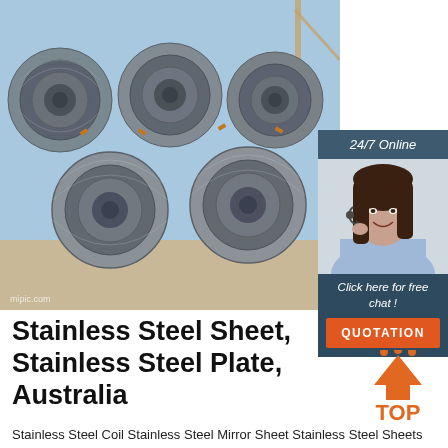[Figure (photo): Stainless steel wire rod coils stacked outdoors with crane in background, watermark 'mipic.com' in bottom left]
[Figure (infographic): 24/7 Online support box with female customer service representative wearing headset, 'Click here for free chat!' text, and orange QUOTATION button]
Stainless Steel Sheet, Stainless Steel Plate, Australia
[Figure (logo): Orange TOP button with upward arrow triangle icon]
Stainless Steel Coil Stainless Steel Mirror Sheet Stainless Steel Sheets Stainless Steel Plate